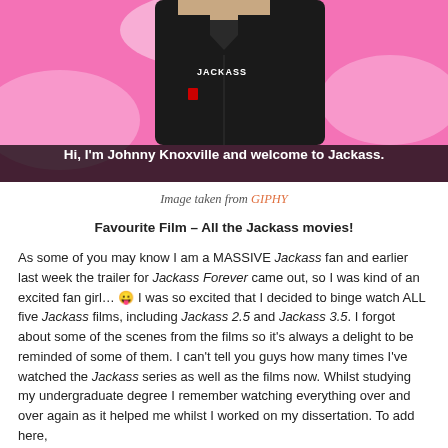[Figure (photo): Photo of Johnny Knoxville wearing a black short-sleeved shirt with 'JACKASS' text, against a pink background. A subtitle overlay reads: 'Hi, I'm Johnny Knoxville and welcome to Jackass.']
Image taken from GIPHY
Favourite Film – All the Jackass movies!
As some of you may know I am a MASSIVE Jackass fan and earlier last week the trailer for Jackass Forever came out, so I was kind of an excited fan girl… 😛 I was so excited that I decided to binge watch ALL five Jackass films, including Jackass 2.5 and Jackass 3.5. I forgot about some of the scenes from the films so it's always a delight to be reminded of some of them. I can't tell you guys how many times I've watched the Jackass series as well as the films now. Whilst studying my undergraduate degree I remember watching everything over and over again as it helped me whilst I worked on my dissertation. To add here,